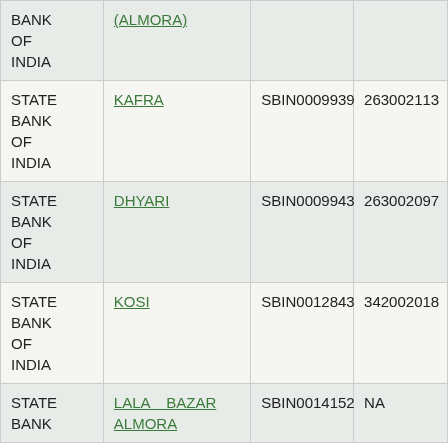| Bank | Branch | IFSC | MICR |
| --- | --- | --- | --- |
| BANK OF INDIA | (ALMORA) |  |  |
| STATE BANK OF INDIA | KAFRA | SBIN0009939 | 263002113 |
| STATE BANK OF INDIA | DHYARI | SBIN0009943 | 263002097 |
| STATE BANK OF INDIA | KOSI | SBIN0012843 | 342002018 |
| STATE BANK OF INDIA | LALA BAZAR ALMORA | SBIN0014152 | NA |